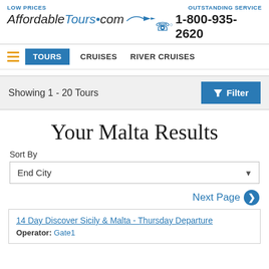LOW PRICES | AffordableTours.com | OUTSTANDING SERVICE | 1-800-935-2620
TOURS   CRUISES   RIVER CRUISES
Showing 1 - 20 Tours
Your Malta Results
Sort By
End City
Next Page
14 Day Discover Sicily & Malta - Thursday Departure
Operator: Gate1